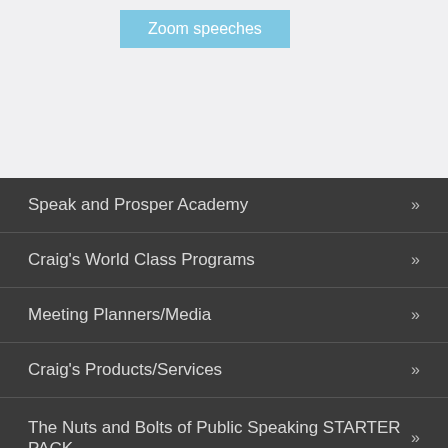[Figure (other): Light blue button labeled 'Zoom speeches' on a light gray background]
Speak and Prosper Academy »
Craig's World Class Programs »
Meeting Planners/Media »
Craig's Products/Services »
The Nuts and Bolts of Public Speaking STARTER PACK »